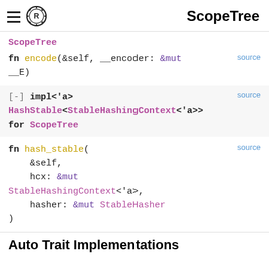ScopeTree
ScopeTree
fn encode(&self, __encoder: &mut __E)
[-] impl<'a> HashStable<StableHashingContext<'a>> for ScopeTree
fn hash_stable(
    &self,
    hcx: &mut StableHashingContext<'a>,
    hasher: &mut StableHasher
)
Auto Trait Implementations